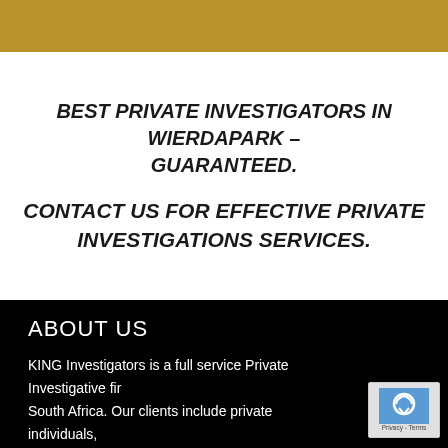BEST PRIVATE INVESTIGATORS IN WIERDAPARK – GUARANTEED.
CONTACT US FOR EFFECTIVE PRIVATE INVESTIGATIONS SERVICES.
ABOUT US
KING Investigators is a full service Private Investigative firm in South Africa. Our clients include private individuals, corporations, law firms, insurance companies, as well as